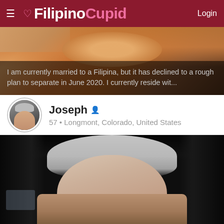FilipinoCupid  Login
[Figure (photo): Photo of a dog (appears to be a golden/fluffy dog) from close up, muzzle visible]
I am currently married to a Filipina, but it has declined to a rough plan to separate in June 2020. I currently reside wit...
Joseph  57 • Longmont, Colorado, United States
[Figure (photo): Photo of a middle-aged man with gray/white hair sitting in a car, looking at camera]